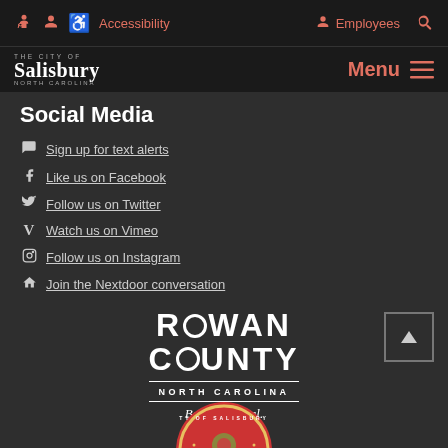Accessibility  Employees  [Search]
The City of Salisbury North Carolina  Menu
Social Media
Sign up for text alerts
Like us on Facebook
Follow us on Twitter
Watch us on Vimeo
Follow us on Instagram
Join the Nextdoor conversation
[Figure (logo): Rowan County North Carolina – Be an original. logo in white text on dark background]
[Figure (logo): City of Salisbury seal (partial), circular red emblem at bottom of page]